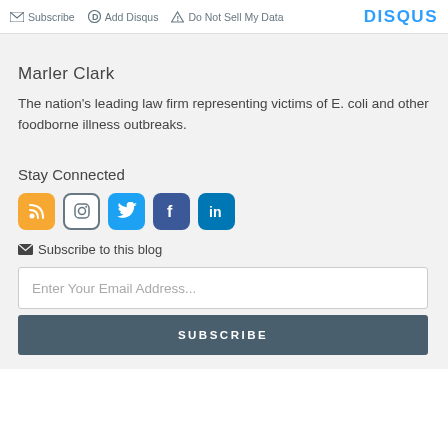Subscribe  Add Disqus  Do Not Sell My Data   DISQUS
Marler Clark
The nation's leading law firm representing victims of E. coli and other foodborne illness outbreaks.
Stay Connected
[Figure (infographic): Social media icons: RSS (orange), Instagram (white/grey border), Twitter (blue), Facebook (dark blue), LinkedIn (blue)]
Subscribe to this blog
Enter Your Email Address...
SUBSCRIBE